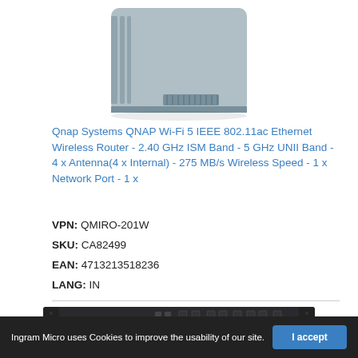[Figure (photo): Photo of QNAP Wi-Fi router device, a gray box with ventilation slots, shown from the front/top, cropped at top]
Qnap Systems QNAP Wi-Fi 5 IEEE 802.11ac Ethernet Wireless Router - 2.40 GHz ISM Band - 5 GHz UNII Band - 4 x Antenna(4 x Internal) - 275 MB/s Wireless Speed - 1 x Network Port - 1 x
VPN: QMIRO-201W
SKU: CA82499
EAN: 4713213518236
LANG: IN
[Figure (photo): Photo of a QNAP rack-mounted network device, black, showing front panel with ports and QNAP logo]
Ingram Micro uses Cookies to improve the usability of our site.